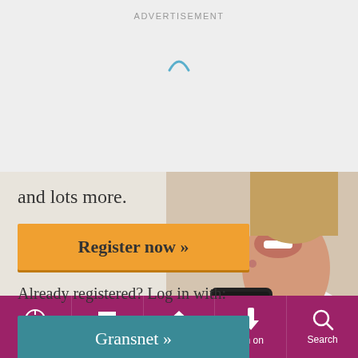ADVERTISEMENT
[Figure (illustration): Loading spinner arc in blue on grey background]
and lots more.
Register now »
Already registered? Log in with:
Gransnet »
[Figure (photo): Middle-aged woman smiling, holding a smartphone, wearing white shirt]
Active  Watching  Home  I'm on  Search